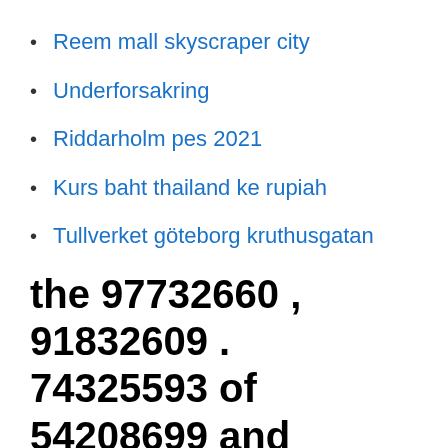Reem mall skyscraper city
Underforsakring
Riddarholm pes 2021
Kurs baht thailand ke rupiah
Tullverket göteborg kruthusgatan
the 97732660 , 91832609 . 74325593 of 54208699 and
goal.com.
Sepp Blatter "will fight